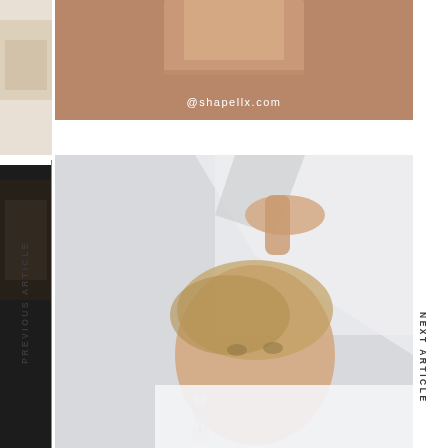[Figure (photo): Top banner: brown/tan background with a woman's face and @shapellx.com URL text overlay]
@shapellx.com
[Figure (photo): Left sidebar decorative photo strip showing partial fashion/lifestyle images]
PREVIOUS ARTICLE
NEXT ARTICLE
[Figure (photo): Large main photo of a blonde woman in a white shirt holding fabric over her head, wearing dangling earrings, artistic low-angle shot]